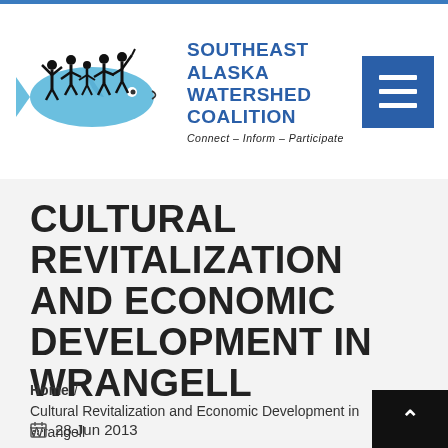[Figure (logo): Southeast Alaska Watershed Coalition logo with fish and silhouetted people figures, organization name and tagline 'Connect - Inform - Participate']
CULTURAL REVITALIZATION AND ECONOMIC DEVELOPMENT IN WRANGELL
Home / Cultural Revitalization and Economic Development in Wrangell
28 Jun 2013